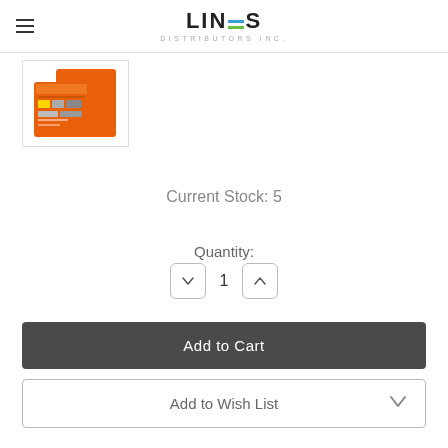LINES DISTRIBUTORS INC.
[Figure (photo): Product thumbnail image showing orange packaging with tools/items inside]
Current Stock: 5
Quantity:
1
Add to Cart
Add to Wish List